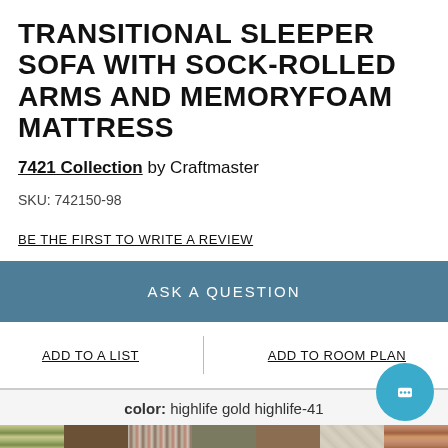TRANSITIONAL SLEEPER SOFA WITH SOCK-ROLLED ARMS AND MEMORYFOAM MATTRESS
7421 Collection by Craftmaster
SKU: 742150-98
BE THE FIRST TO WRITE A REVIEW
ASK A QUESTION
ADD TO A LIST
ADD TO ROOM PLAN
color: highlife gold highlife-41
[Figure (other): Row of 7 fabric color swatches including plaid green, dark brown, multicolor stripe, olive/khaki, medium brown, cream geometric, and rust/multicolor stripe patterns]